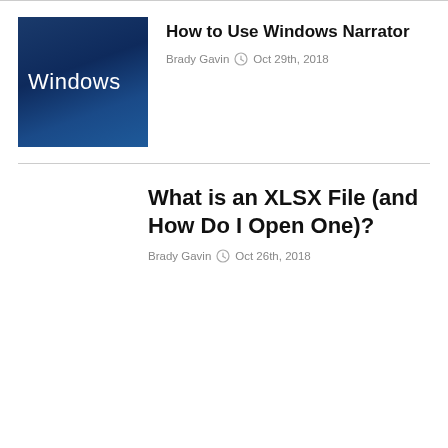[Figure (photo): Windows logo on dark blue gradient background]
How to Use Windows Narrator
Brady Gavin   Oct 29th, 2018
What is an XLSX File (and How Do I Open One)?
Brady Gavin   Oct 26th, 2018
How to Convert a WMA File to MP3